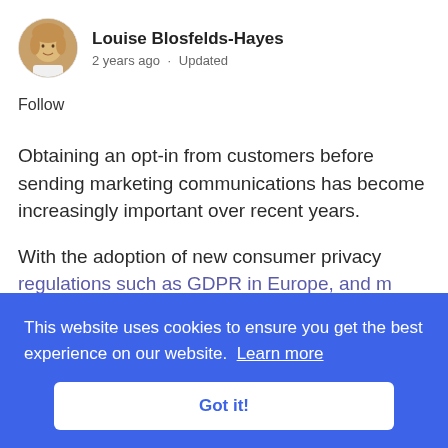[Figure (photo): Circular avatar photo of Louise Blosfelds-Hayes, a woman with light hair and a white top]
Louise Blosfelds-Hayes
2 years ago · Updated
Follow
Obtaining an opt-in from customers before sending marketing communications has become increasingly important over recent years.
With the adoption of new consumer privacy regulations such as GDPR in Europe, and e for ... / new legislation people all to the and ... completing your ... managing your r
This website uses cookies to ensure you get the best experience on our website. Learn more
Got it!